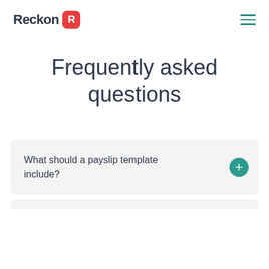Reckon
Frequently asked questions
What should a payslip template include?